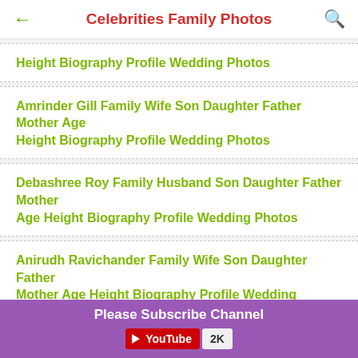Celebrities Family Photos
Height Biography Profile Wedding Photos
Amrinder Gill Family Wife Son Daughter Father Mother Age Height Biography Profile Wedding Photos
Debashree Roy Family Husband Son Daughter Father Mother Age Height Biography Profile Wedding Photos
Anirudh Ravichander Family Wife Son Daughter Father Mother Age Height Biography Profile Wedding Photos
Koel Mallick Biography Profile Family Husband Son Daughter Father Mother Biodata Marriage Photos
Please Subscribe Channel YouTube 2K